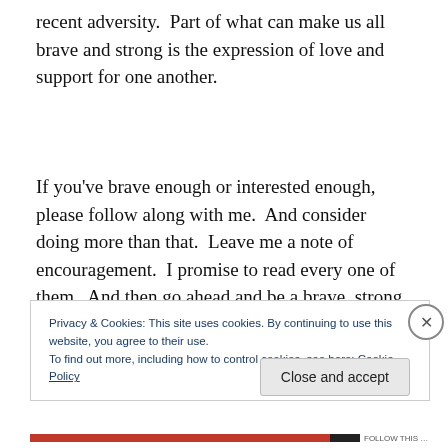recent adversity.  Part of what can make us all brave and strong is the expression of love and support for one another.
If you've brave enough or interested enough, please follow along with me.  And consider doing more than that.  Leave me a note of encouragement.  I promise to read every one of them.  And then go ahead and be a brave, strong girl (or
Privacy & Cookies: This site uses cookies. By continuing to use this website, you agree to their use.
To find out more, including how to control cookies, see here: Cookie Policy
Close and accept